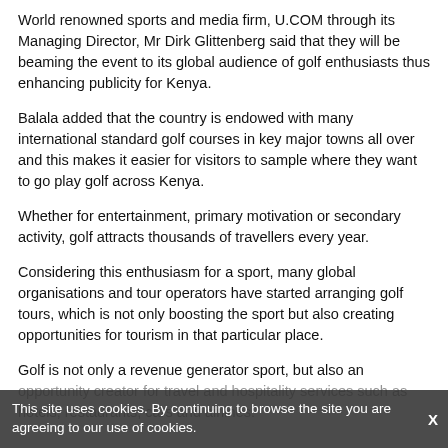World renowned sports and media firm, U.COM through its Managing Director, Mr Dirk Glittenberg said that they will be beaming the event to its global audience of golf enthusiasts thus enhancing publicity for Kenya.
Balala added that the country is endowed with many international standard golf courses in key major towns all over and this makes it easier for visitors to sample where they want to go play golf across Kenya.
Whether for entertainment, primary motivation or secondary activity, golf attracts thousands of travellers every year.
Considering this enthusiasm for a sport, many global organisations and tour operators have started arranging golf tours, which is not only boosting the sport but also creating opportunities for tourism in that particular place.
Golf is not only a revenue generator sport, but also an opportunity creator for travel and hospitality services such as hotels, restaurants, cars and airlines.
This site uses cookies. By continuing to browse the site you are agreeing to our use of cookies.